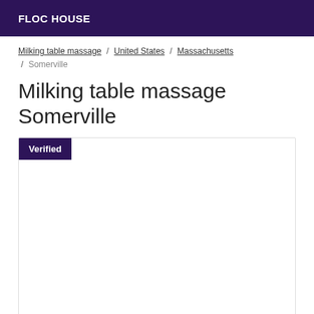FLOC HOUSE
Milking table massage / United States / Massachusetts / Somerville
Milking table massage Somerville
[Figure (other): Listing card with a purple 'Verified' badge in the top-left corner, large white content area below]